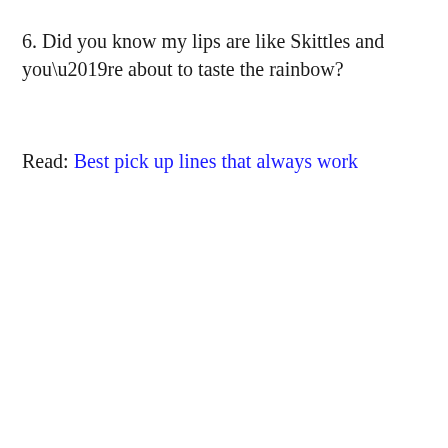6. Did you know my lips are like Skittles and you’re about to taste the rainbow?
Read: Best pick up lines that always work